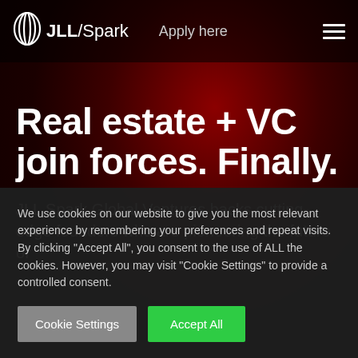JLL/Spark  Apply here
Real estate + VC join forces. Finally.
JLL Spark Global Ventures backs cutting-edge founders who are pioneering the future of
We use cookies on our website to give you the most relevant experience by remembering your preferences and repeat visits. By clicking "Accept All", you consent to the use of ALL the cookies. However, you may visit "Cookie Settings" to provide a controlled consent.
Cookie Settings  Accept All